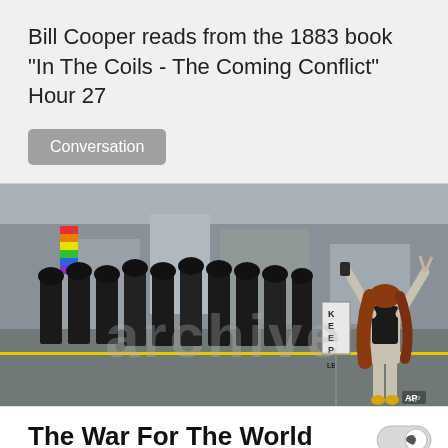Bill Cooper reads from the 1883 book "In The Coils - The Coming Conflict" Hour 27
Conversation
[Figure (photo): A lone person with long red hair, arms raised with peace signs and phone, facing a line of riot police in black tactical gear marching down a city street. A 'KEEP LEFT' sign is visible. Colorful flags in background. AP photo credit.]
The War For The World Begins Down Under | Opinion